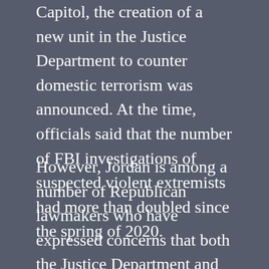Capitol, the creation of a new unit in the Justice Department to counter domestic terrorism was announced. At the time, officials said that the number of FBI investigations of suspected violent extremists had more than doubled since the spring of 2020.
However, Jordan is among a number of Republican lawmakers who have expressed concerns that both the Justice Department and FBI have become politicized.